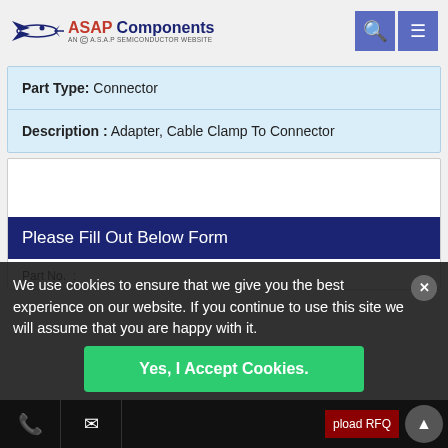[Figure (logo): ASAP Components logo with airplane silhouette, brand name in red/navy, subtitle 'AN A.S.A.P SEMICONDUCTOR WEBSITE']
| Part Type: | Connector |
| Description : | Adapter, Cable Clamp To Connector |
Please Fill Out Below Form
Part No. :
We use cookies to ensure that we give you the best experience on our website. If you continue to use this site we will assume that you are happy with it.
Yes, I Accept Cookies.